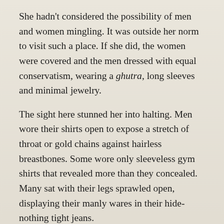She hadn't considered the possibility of men and women mingling. It was outside her norm to visit such a place. If she did, the women were covered and the men dressed with equal conservatism, wearing a ghutra, long sleeves and minimal jewelry.
The sight here stunned her into halting. Men wore their shirts open to expose a stretch of throat or gold chains against hairless breastbones. Some wore only sleeveless gym shirts that revealed more than they concealed. Many sat with their legs sprawled open, displaying their manly wares in their hide-nothing tight jeans.
Women had come to her engagement party in long gowns with plunging necklines, which had fascinated her, but here they wore dresses shorter than her own. Some were backless to the cleavage of